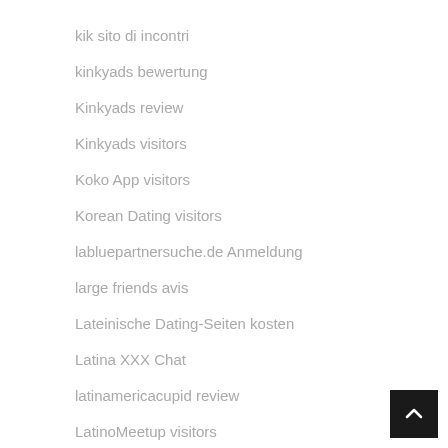kik sito di incontri
kinkyads bewertung
Kinkyads review
Kinkyads visitors
Koko App visitors
Korean Dating visitors
labluepartnersuche.de Anmeldung
large friends avis
Lateinische Dating-Seiten kosten
Latina XXX Chat
latinamericacupid review
LatinoMeetup visitors
lavalife es review